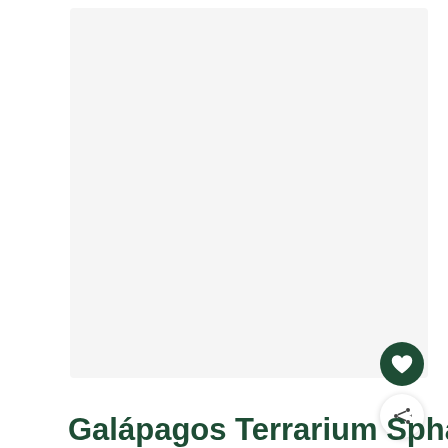[Figure (photo): Large white/light gray product image area showing a nearly blank white background, likely a product photo placeholder for Galapagos Terrarium Sphagnum moss product]
Galápagos Terrarium Sphagnum